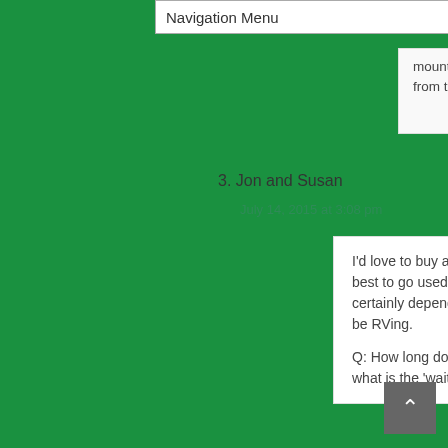Navigation Menu
mounted midship on the roof. You can't see it from the ground.
Reply ↓
3. Jon and Susan
July 14, 2015 at 3:08 pm
I'd love to buy a new RV, but it seems most argue its best to go used due to depreciation. Of course, it certainly depends on how long-term a person intends to be RVing.
Q: How long does it take to get a new Travato built…and what is the 'wait' time if one orders one?